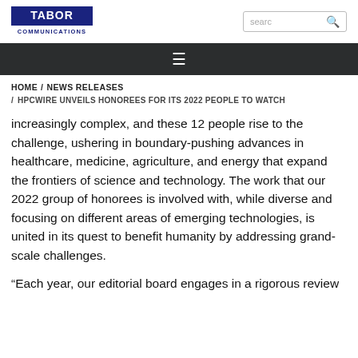[Figure (logo): Tabor Communications logo with bold blue 'TABOR' text and 'COMMUNICATIONS' below]
TABOR COMMUNICATIONS [logo] | search box
≡ (hamburger menu navigation bar)
HOME / NEWS RELEASES
/ HPCWIRE UNVEILS HONOREES FOR ITS 2022 PEOPLE TO WATCH
increasingly complex, and these 12 people rise to the challenge, ushering in boundary-pushing advances in healthcare, medicine, agriculture, and energy that expand the frontiers of science and technology. The work that our 2022 group of honorees is involved with, while diverse and focusing on different areas of emerging technologies, is united in its quest to benefit humanity by addressing grand-scale challenges.
“Each year, our editorial board engages in a rigorous review